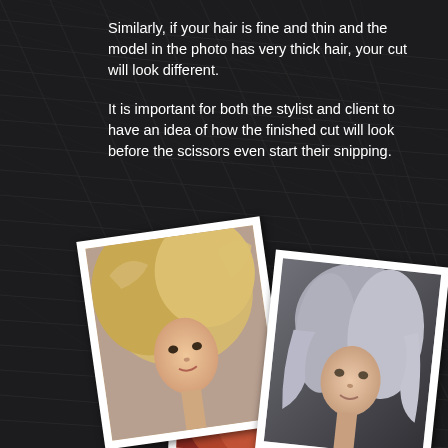Similarly, if your hair is fine and thin and the model in the photo has very thick hair, your cut will look different.
It is important for both the stylist and client to have an idea of how the finished cut will look before the scissors even start their snipping.
[Figure (photo): Two polaroid-style photos of women with different hair styles overlapping: one with voluminous blonde hair, one with silver/grey hair, and a partial third photo with red hair visible behind them, all set against a dark textured hair background.]